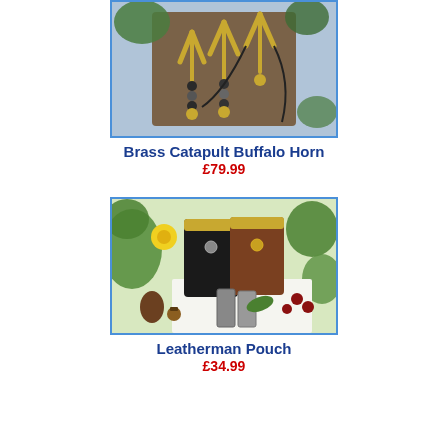[Figure (photo): Photo of brass catapult slingshots with buffalo horn handles and black bead decorations, displayed against a wooden background with green foliage]
Brass Catapult Buffalo Horn
£79.99
[Figure (photo): Photo of black and brown leather pouches (Leatherman style) displayed among pine cones, nuts, berries, and green plants, with a multi-tool visible at the bottom]
Leatherman Pouch
£34.99